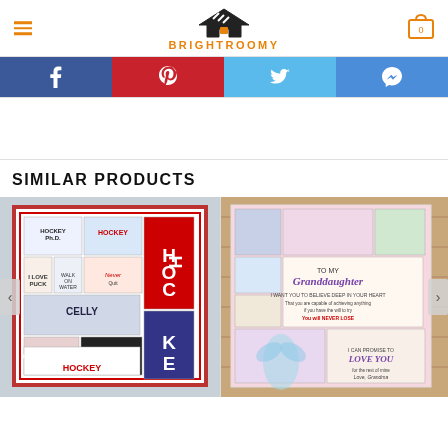BRIGHTROOMY
[Figure (screenshot): Social share buttons row: Facebook (blue), Pinterest (red), Twitter (light blue), Messenger (blue)]
SIMILAR PRODUCTS
[Figure (photo): Hockey-themed quilt with text panels including 'Hockey Ph.D.', 'HOCKEY', 'CELLY', 'WAR', 'SLEEP EAT PLAY HOCKEY']
[Figure (photo): Pink granddaughter-themed quilt with text 'TO MY Granddaughter' and inspirational messages, 'LOVE YOU']